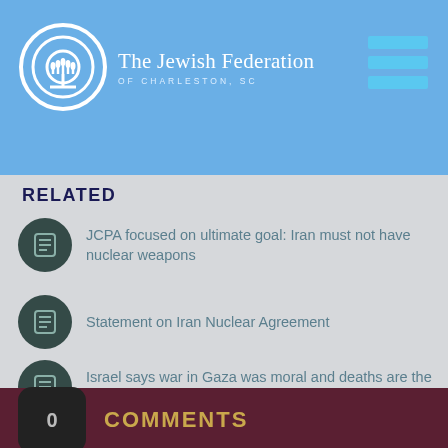The Jewish Federation OF CHARLESTON, SC
RELATED
JCPA focused on ultimate goal: Iran must not have nuclear weapons
Statement on Iran Nuclear Agreement
Israel says war in Gaza was moral and deaths are the fault of Hamas
0 COMMENTS